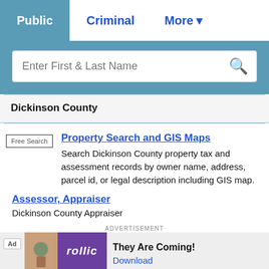Public | Criminal | More
Enter First & Last Name
Dickinson County
Property Search and GIS Maps
Search Dickinson County property tax and assessment records by owner name, address, parcel id, or legal description including GIS map.
Assessor, Appraiser
Dickinson County Appraiser
ADVERTISEMENT
[Figure (screenshot): Advertisement banner: rollic game ad with 'They Are Coming!' tagline and Download link]